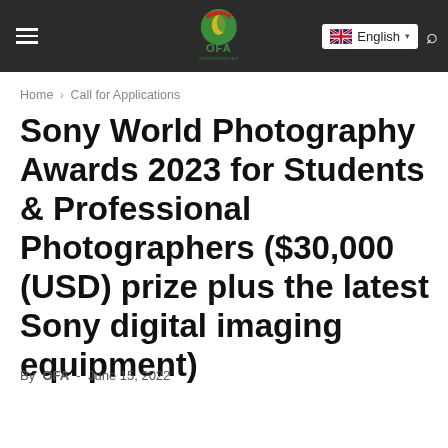OFA — English navigation bar
Home › Call for Applications
Sony World Photography Awards 2023 for Students & Professional Photographers ($30,000 (USD) prize plus the latest Sony digital imaging equipment)
By OFA - June 15, 2022